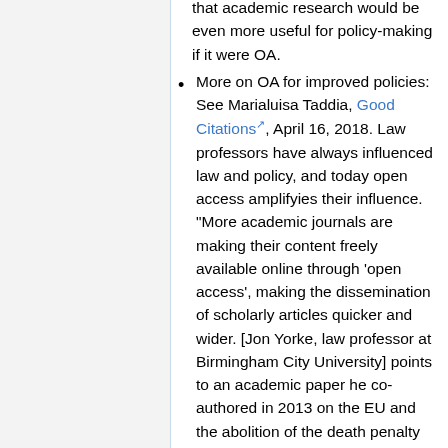that academic research would be even more useful for policy-making if it were OA.
More on OA for improved policies: See Marialuisa Taddia, Good Citations, April 16, 2018. Law professors have always influenced law and policy, and today open access amplifyies their influence. "More academic journals are making their content freely available online through ‘open access’, making the dissemination of scholarly articles quicker and wider. [Jon Yorke, law professor at Birmingham City University] points to an academic paper he co-authored in 2013 on the EU and the abolition of the death penalty as ‘the most